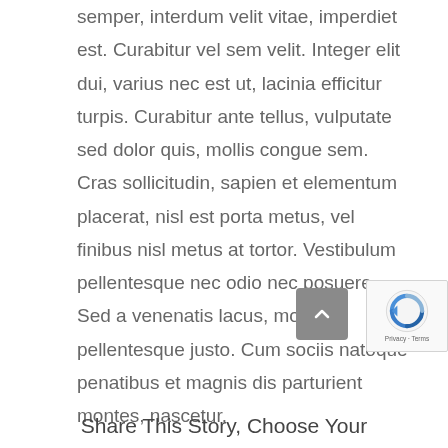semper, interdum velit vitae, imperdiet est. Curabitur vel sem velit. Integer elit dui, varius nec est ut, lacinia efficitur turpis. Curabitur ante tellus, vulputate sed dolor quis, mollis congue sem. Cras sollicitudin, sapien et elementum placerat, nisl est porta metus, vel finibus nisl metus at tortor. Vestibulum pellentesque nec odio nec posuere. Sed a venenatis lacus, molestie pellentesque justo. Cum sociis natoque penatibus et magnis dis parturient montes, nascetur.
Share This Story, Choose Your